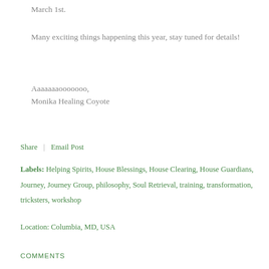March 1st.
Many exciting things happening this year, stay tuned for details!
Aaaaaaaooooooo,
Monika Healing Coyote
Share    Email Post
Labels: Helping Spirits, House Blessings, House Clearing, House Guardians, Journey, Journey Group, philosophy, Soul Retrieval, training, transformation, tricksters, workshop
Location: Columbia, MD, USA
COMMENTS